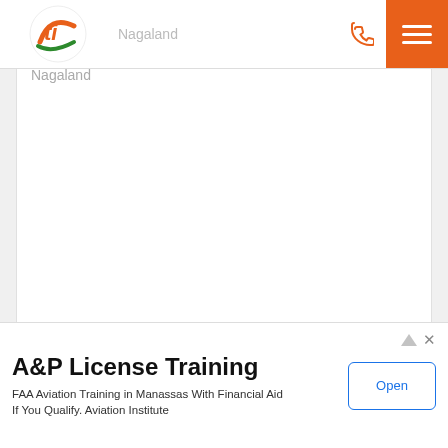Nagaland
[Figure (illustration): White card area with partial text 'Nagaland' visible at the top, content area mostly blank]
1. Durga Pooja, West Bengal
[Figure (photo): Colorful Durga Puja idol decorated with intricate golden and red ornaments, goddess with multiple arms]
A&P License Training
FAA Aviation Training in Manassas With Financial Aid If You Qualify. Aviation Institute